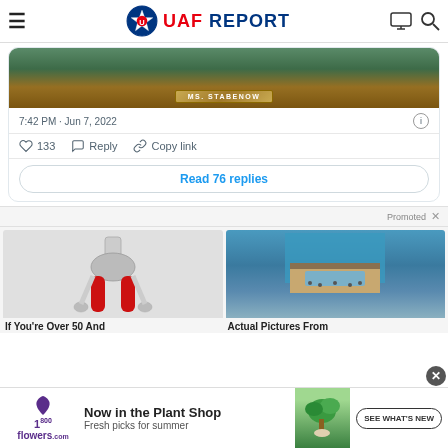UAF REPORT
[Figure (screenshot): Partial image of a Senate hearing nameplate reading MS. STABENOW]
7:42 PM · Jun 7, 2022
133  Reply  Copy link
Read 76 replies
Promoted
[Figure (photo): Medical illustration showing pelvis and femur muscles highlighted in red — If You're Over 50 And...]
[Figure (photo): Aerial photo of a cruise ship deck — Actual Pictures From...]
[Figure (advertisement): 1-800-Flowers.com ad: Now in the Plant Shop — Fresh picks for summer — SEE WHAT'S NEW]